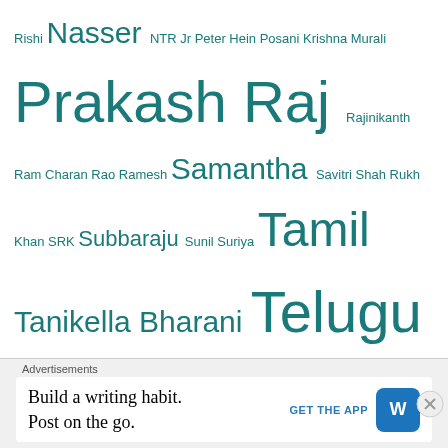Rishi Nasser NTR Jr Peter Hein Posani Krishna Murali Prakash Raj Rajinikanth Ram Charan Rao Ramesh Samantha Savitri Shah Rukh Khan SRK Subbaraju Sunil Suriya Tamil Tanikella Bharani Telugu Tollywood Trisha Venu Madhav Vijay Vijay Sethupathi Yuvan Shankar Raja
Don't steal our work!
© Cinema Chaat
[Figure (logo): Creative Commons BY NC ND license badge]
This work is licensed under a Creative Commons Attribution-
Advertisements
Build a writing habit. Post on the go. GET THE APP